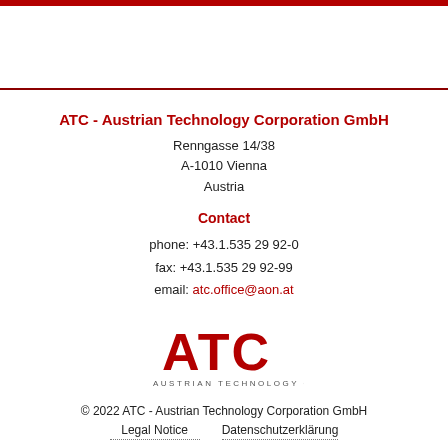[Figure (logo): ATC Austrian Technology Corporation GmbH logo with red ATC letters and company name below]
ATC - Austrian Technology Corporation GmbH
Renngasse 14/38
A-1010 Vienna
Austria
Contact
phone: +43.1.535 29 92-0
fax: +43.1.535 29 92-99
email: atc.office@aon.at
© 2022 ATC - Austrian Technology Corporation GmbH
Legal Notice    Datenschutzerklärung